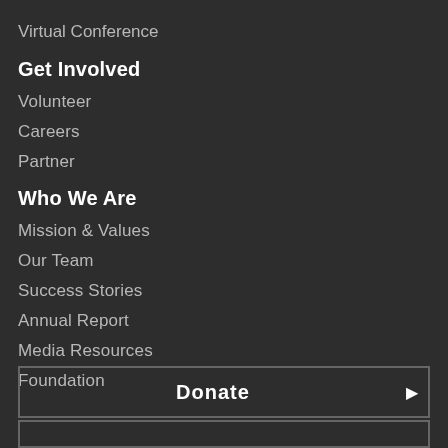Virtual Conference
Get Involved
Volunteer
Careers
Partner
Who We Are
Mission & Values
Our Team
Success Stories
Annual Report
Media Resources
Foundation
Donate